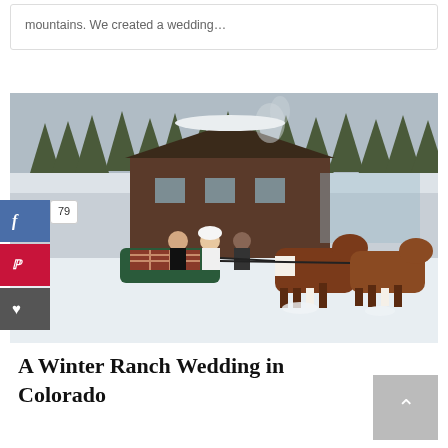mountains. We created a wedding…
[Figure (photo): A bride and groom riding a horse-drawn sleigh through snow in front of a snow-covered ranch building and pine trees in Colorado.]
A Winter Ranch Wedding in Colorado